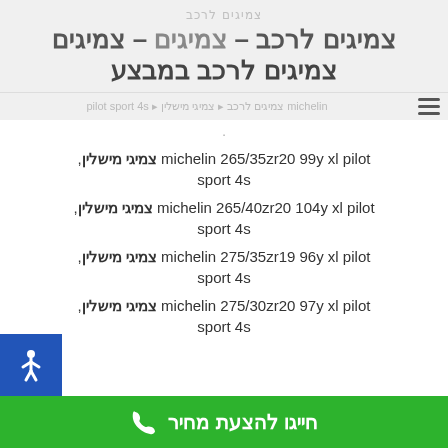צמיגים לרכב – צמיגים – צמיגים לרכב במבצע
ניווט עם קישורים לעמודים נוספים
.
צמיגי מישלין, michelin 265/35zr20 99y xl pilot sport 4s
צמיגי מישלין, michelin 265/40zr20 104y xl pilot sport 4s
צמיגי מישלין, michelin 275/35zr19 96y xl pilot sport 4s
צמיגי מישלין, michelin 275/30zr20 97y xl pilot sport 4s
חייגו להצעת מחיר